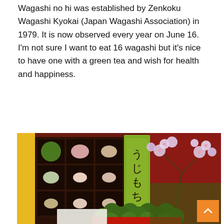Wagashi no hi was established by Zenkoku Wagashi Kyokai (Japan Wagashi Association) in 1979. It is now observed every year on June 16. I'm not sure I want to eat 16 wagashi but it's nice to have one with a green tea and wish for health and happiness.
[Figure (photo): A photo showing a box of wagashi Japanese sweets including green matcha mochi balls coated in green tea powder, arranged in a box with Japanese calligraphy reading 'uji mochi', with cherry blossom flowers in the background and a red lacquer tray. Green matcha mochi balls are piled in front of the box.]